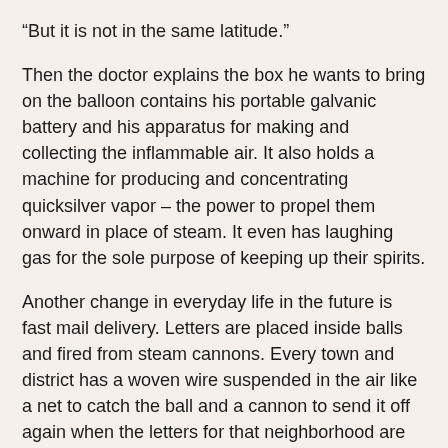“But it is not in the same latitude.”
Then the doctor explains the box he wants to bring on the balloon contains his portable galvanic battery and his apparatus for making and collecting the inflammable air. It also holds a machine for producing and concentrating quicksilver vapor – the power to propel them onward in place of steam. It even has laughing gas for the sole purpose of keeping up their spirits.
Another change in everyday life in the future is fast mail delivery. Letters are placed inside balls and fired from steam cannons. Every town and district has a woven wire suspended in the air like a net to catch the ball and a cannon to send it off again when the letters for that neighborhood are extracted. A smaller wooden ball with a hole in its side to making whizzing noise as it sails through the air is sent before each mail ball to alert people to keep out of the way.